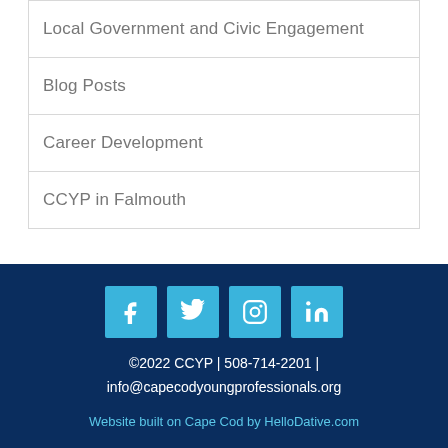Local Government and Civic Engagement
Blog Posts
Career Development
CCYP in Falmouth
©2022 CCYP | 508-714-2201 | info@capecodyoungprofessionals.org
Website built on Cape Cod by HelloDative.com